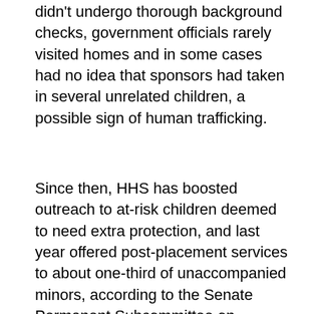didn't undergo thorough background checks, government officials rarely visited homes and in some cases had no idea that sponsors had taken in several unrelated children, a possible sign of human trafficking.
Since then, HHS has boosted outreach to at-risk children deemed to need extra protection, and last year offered post-placement services to about one-third of unaccompanied minors, according to the Senate Permanent Subcommittee on Investigations.
But advocates say it is hard to know how many minors may be in dangerous conditions, in part because some disappear before social workers can follow up with them and never show up in court.
From April to June, HHS called 11,254 children the agency had placed with sponsors and found 37 of the children had